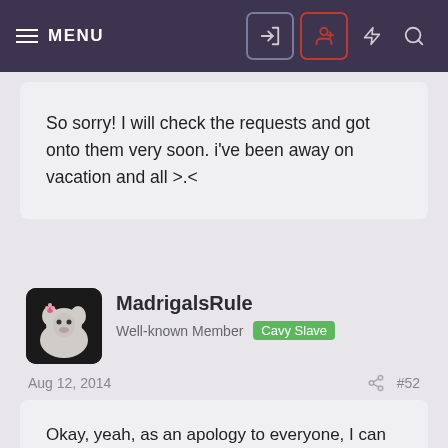MENU
So sorry! I will check the requests and got onto them very soon. i've been away on vacation and all >.<
MadrigalsRule
Well-known Member  Cavy Slave
Aug 12, 2014  #52
Okay, yeah, as an apology to everyone, I can send you your piggy drawings in the mail, but probably only for those living in the USA because it's expensive to ship elsewhere; for those